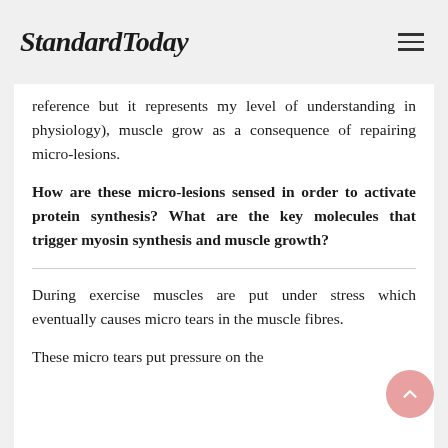StandardToday
reference but it represents my level of understanding in physiology), muscle grow as a consequence of repairing micro-lesions.
How are these micro-lesions sensed in order to activate protein synthesis? What are the key molecules that trigger myosin synthesis and muscle growth?
During exercise muscles are put under stress which eventually causes micro tears in the muscle fibres.
These micro tears put pressure on the